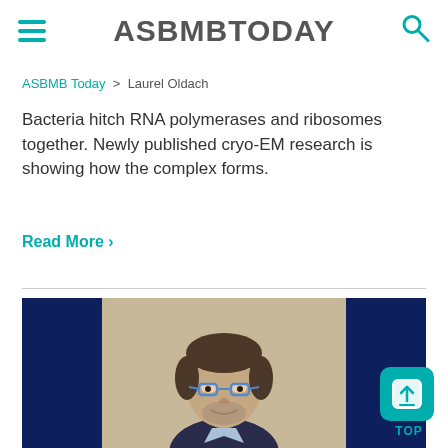ASBMBTODAY
ASBMB Today > Laurel Oldach
Bacteria hitch RNA polymerases and ribosomes together. Newly published cryo-EM research is showing how the complex forms.
Read More >
[Figure (photo): Portrait photo of a man with glasses and dark hair, wearing a dark jacket, shown from chest up. Flanked by dark navy blue sidebar panels on left and right.]